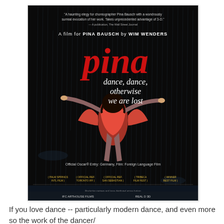[Figure (photo): Movie poster for 'Pina' — a film for Pina Bausch by Wim Wenders. Dark background showing a dancer in an orange/red dress leaping with arms outstretched in the rain. Large red text reads 'pina' with white text 'dance, dance, otherwise we are lost'. Top quote: 'A haunting elegy for choreographer Pina Bausch with a wondrously surreal evocation of her work. Takes unprecedented advantage of 3-D.' Film awards laurel badges at bottom, official Oscar entry German film foreign language film.]
If you love dance -- particularly modern dance, and even more so the work of the dancer/